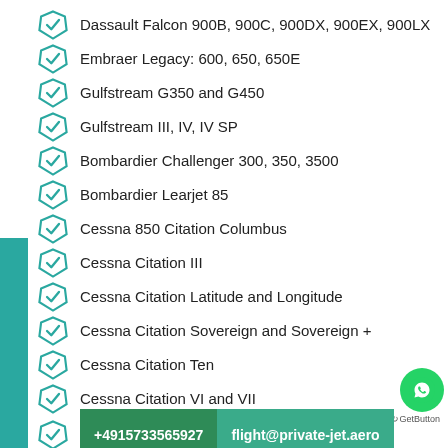Dassault Falcon 900B, 900C, 900DX, 900EX, 900LX
Embraer Legacy: 600, 650, 650E
Gulfstream G350 and G450
Gulfstream III, IV, IV SP
Bombardier Challenger 300, 350, 3500
Bombardier Learjet 85
Cessna 850 Citation Columbus
Cessna Citation III
Cessna Citation Latitude and Longitude
Cessna Citation Sovereign and Sovereign +
Cessna Citation Ten
Cessna Citation VI and VII
C...
+4915733565927 | flight@private-jet.aero